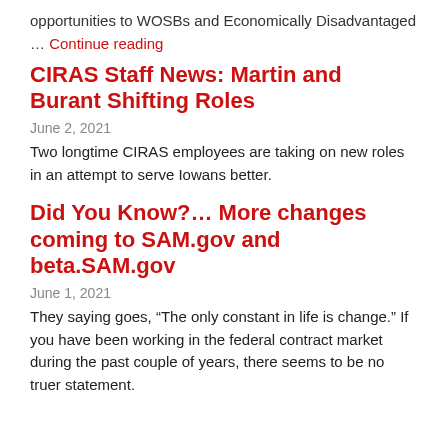opportunities to WOSBs and Economically Disadvantaged
… Continue reading
CIRAS Staff News: Martin and Burant Shifting Roles
June 2, 2021
Two longtime CIRAS employees are taking on new roles in an attempt to serve Iowans better.
Did You Know?… More changes coming to SAM.gov and beta.SAM.gov
June 1, 2021
They saying goes, “The only constant in life is change.” If you have been working in the federal contract market during the past couple of years, there seems to be no truer statement.